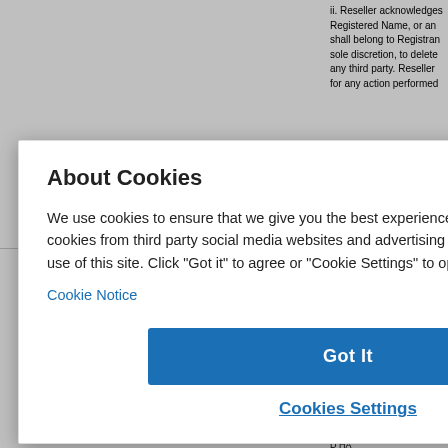ii. Reseller acknowledges Registered Name, or an shall belong to Registran sole discretion, to delete any third party. Reseller for any action performed
b. Taxes. Reseller shall be respon
[Figure (screenshot): Cookie consent modal dialog overlay on top of a legal document page. The modal has title 'About Cookies' with a close X button, body text explaining cookie usage, a 'Cookie Notice' link, a blue 'Got It' button, and a 'Cookies Settings' link.]
ITAT REGI PRE NG, D TICU REGO VER VENT NSF
U AC GREE OF T SE C D HA RVIC GS TC N, DB IE SI